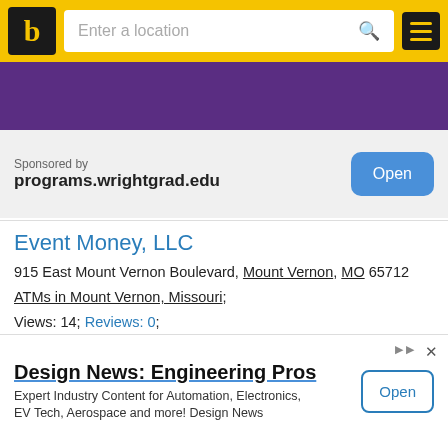b | Enter a location [search] [menu]
[Figure (screenshot): Purple banner/header image (partial, cropped)]
Sponsored by
programs.wrightgrad.edu
Event Money, LLC
915 East Mount Vernon Boulevard, Mount Vernon, MO 65712
ATMs in Mount Vernon, Missouri;
Views: 14; Reviews: 0;
Contacts • Reviews • Gallery
ATM Liberty Bank
t Mount Vernon Boulevard, Mount Vernon, MO 65712
627-3000
[Figure (screenshot): Bottom advertisement: Design News: Engineering Pros — Expert Industry Content for Automation, Electronics, EV Tech, Aerospace and more! Design News]
Design News: Engineering Pros
Expert Industry Content for Automation, Electronics, EV Tech, Aerospace and more! Design News